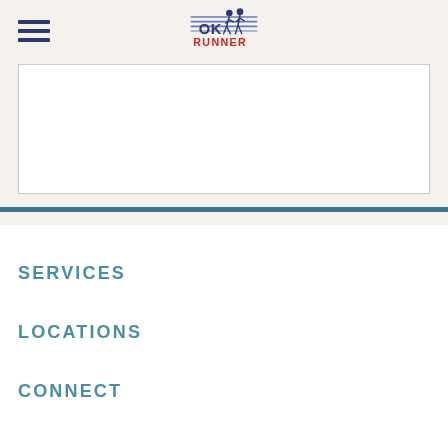[Figure (logo): OK Runner logo with two runners and horizontal lines, text reads OK RUNNER]
[Figure (other): Empty white content box with border]
SERVICES
LOCATIONS
CONNECT